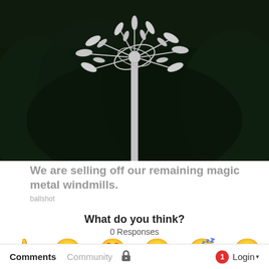[Figure (photo): A metal kinetic wind sculpture on a pole against dark green trees background]
We are selling off our remaining magic metal windmills.
ballshot
What do you think?
0 Responses
[Figure (infographic): Six emoji reaction buttons: Upvote (thumbs up), Funny (laughing face), Love (heart eyes), Surprised (wow face), Angry (sleeping/drooling face), Sad (crying face)]
Comments  Community  [lock icon]  1  Login